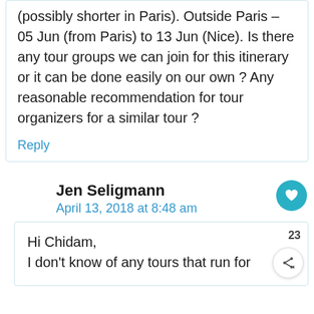(possibly shorter in Paris). Outside Paris – 05 Jun (from Paris) to 13 Jun (Nice). Is there any tour groups we can join for this itinerary or it can be done easily on our own ? Any reasonable recommendation for tour organizers for a similar tour ?
Reply
Jen Seligmann
April 13, 2018 at 8:48 am
Hi Chidam,
I don't know of any tours that run for